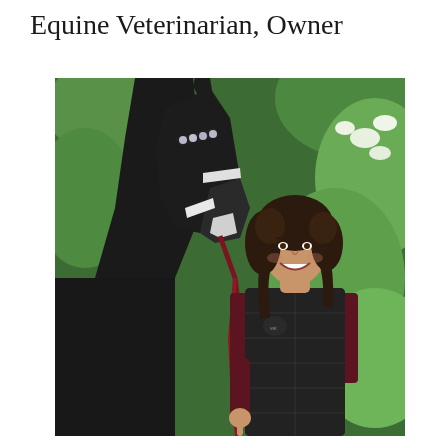Equine Veterinarian, Owner
[Figure (photo): A woman with dark curly hair, wearing a black puffer vest over a dark red long-sleeve shirt, smiling and standing next to a black horse with a jeweled halter and white bridle. They are outdoors surrounded by lush green foliage.]